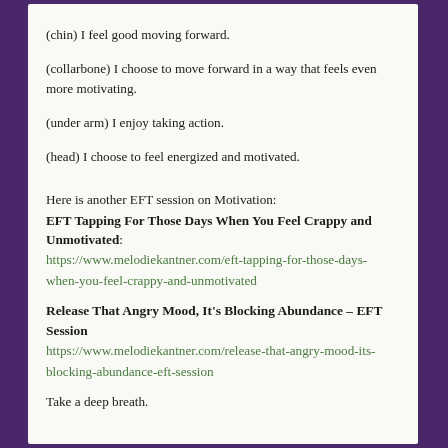(chin) I feel good moving forward.
(collarbone) I choose to move forward in a way that feels even more motivating.
(under arm) I enjoy taking action.
(head) I choose to feel energized and motivated.
Here is another EFT session on Motivation:
EFT Tapping For Those Days When You Feel Crappy and Unmotivated:
https://www.melodiekantner.com/eft-tapping-for-those-days-when-you-feel-crappy-and-unmotivated
Release That Angry Mood, It's Blocking Abundance – EFT Session
https://www.melodiekantner.com/release-that-angry-mood-its-blocking-abundance-eft-session
Take a deep breath.
Do you want essential oils to power up your tapping?
Click here to Order Essential Oils